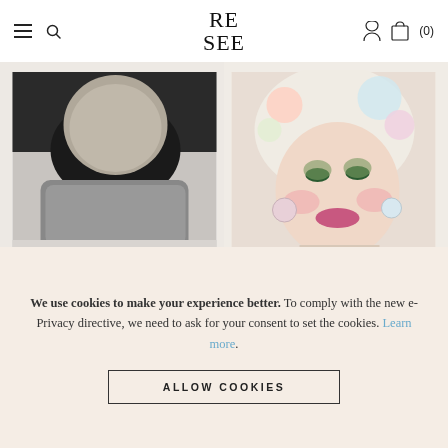RE SEE — navigation header with hamburger menu, search, user icon, and cart (0)
[Figure (photo): Two magazine covers side by side. Left: black and white photo of a woman in a turtleneck, text reads 'JODIE FOSTER'. Right: colorful illustrated cover featuring a heavily made-up woman with white-blonde hair and flowers, text reads 'Music Cyndi Lauper'.]
We use cookies to make your experience better. To comply with the new e-Privacy directive, we need to ask for your consent to set the cookies. Learn more.
ALLOW COOKIES